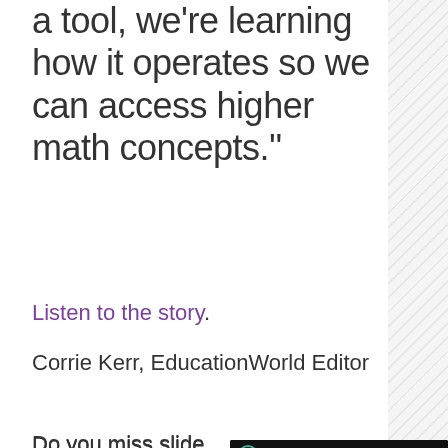a tool, we're learning how it operates so we can access higher math concepts."
Listen to the story.
Corrie Kerr, EducationWorld Editor
Do you miss slide rules? Share your experiences with teaching math in the classroom below.
[Figure (screenshot): AdMetricsPro video overlay showing S&S Worldwide Online Learning video with play button and mute button]
Latest Education
[Figure (logo): STEM logo in blue bar with STEM text]